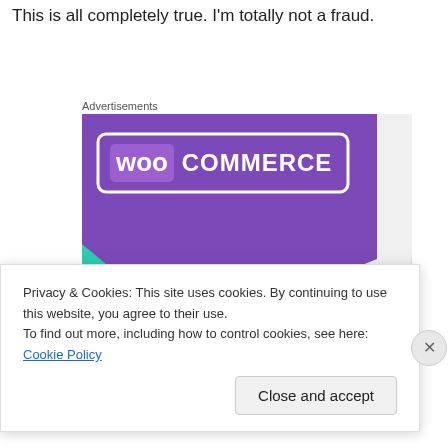This is all completely true. I'm totally not a fraud.
Advertisements
[Figure (illustration): WooCommerce advertisement banner with purple background, teal triangle, and blue arc shape. Text reads 'How to start selling subscriptions online']
Privacy & Cookies: This site uses cookies. By continuing to use this website, you agree to their use.
To find out more, including how to control cookies, see here: Cookie Policy
Close and accept